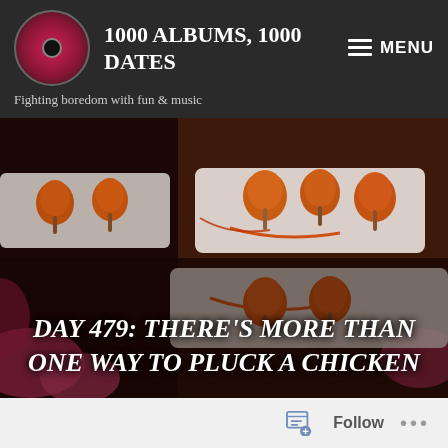1000 ALBUMS, 1000 DATES
Fighting boredom with fun & music
[Figure (photo): Tiled food photo showing fried chicken lollipops on white plates with sauce, repeated in a grid pattern as background for the hero section]
DAY 479: THERE'S MORE THAN ONE WAY TO PLUCK A CHICKEN
Follow   ...